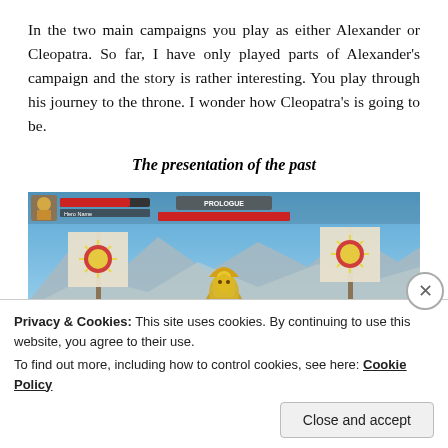In the two main campaigns you play as either Alexander or Cleopatra. So far, I have only played parts of Alexander's campaign and the story is rather interesting. You play through his journey to the throne. I wonder how Cleopatra's is going to be.
The presentation of the past
[Figure (screenshot): Screenshot of a video game showing a battlefield scene with banners bearing a sunburst emblem, soldiers, a large golden idol/totem in the center, mountains in the background, and a blue sky. A HUD is visible at the top with health bars and a 'PROLOGUE' label.]
Privacy & Cookies: This site uses cookies. By continuing to use this website, you agree to their use.
To find out more, including how to control cookies, see here: Cookie Policy